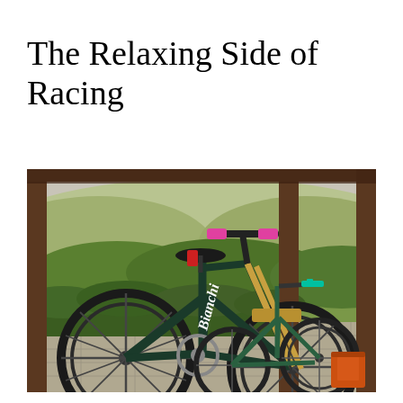The Relaxing Side of Racing
[Figure (photo): Two mountain bikes (Bianchi brand) leaning against a railing on a covered porch or terrace, with green hillside and trees visible in the background. The foreground bike is black with pink grips and gold suspension forks. An orange cooler sits in the background on the right.]